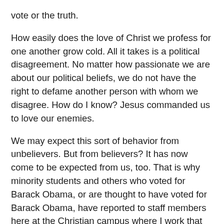vote or the truth.
How easily does the love of Christ we profess for one another grow cold. All it takes is a political disagreement. No matter how passionate we are about our political beliefs, we do not have the right to defame another person with whom we disagree. How do I know? Jesus commanded us to love our enemies.
We may expect this sort of behavior from unbelievers. But from believers? It has now come to be expected from us, too. That is why minority students and others who voted for Barack Obama, or are thought to have voted for Barack Obama, have reported to staff members here at the Christian campus where I work that they are scared to leave their rooms this morning. It's a deeply red campus where blue dissenters face palpable ire. This is the case on most other Christian college campuses; more Protestant evangelicals tend to vote for the Republican candidate.
Minorities (of course not all vote for the Democratic ticket) and others who dared to vote for Obama are shredded by knived